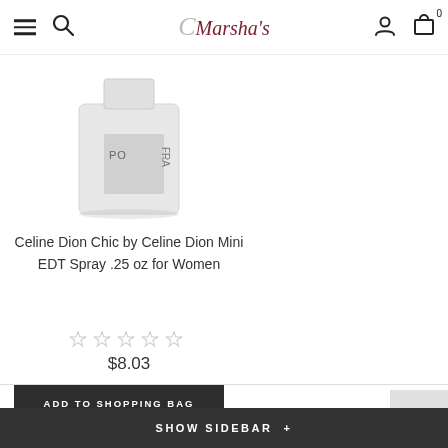Marsha's — navigation header with hamburger menu, search, logo, user icon, cart (0)
[Figure (photo): Celine Dion Chic fragrance bottle — small glass bottle with a white cylindrical cap, partially cropped]
Celine Dion Chic by Celine Dion Mini EDT Spray .25 oz for Women
[Figure (other): Five empty/outline star rating icons (no rating given)]
$8.03
ADD TO SHOPPING BAG
[Figure (other): Scroll-to-top button with upward chevron arrow]
SHOW SIDEBAR +